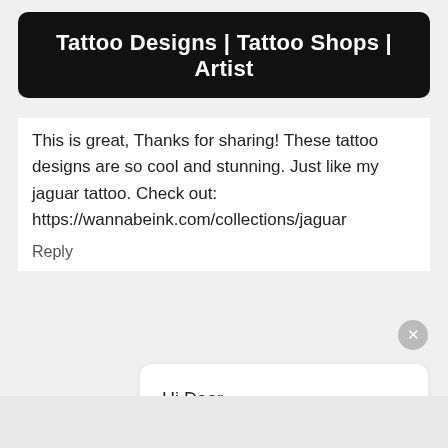Tattoo Designs | Tattoo Shops | Artist
This is great, Thanks for sharing! These tattoo designs are so cool and stunning. Just like my jaguar tattoo. Check out: https://wannabeink.com/collections/jaguar
Reply
Hi Dear,

This is Sara from JhaiHo!